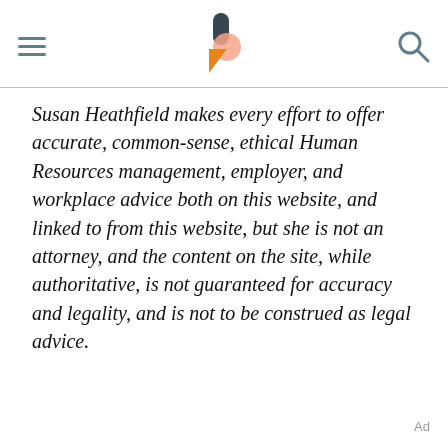[navigation header with hamburger menu, logo, and search icon]
Susan Heathfield makes every effort to offer accurate, common-sense, ethical Human Resources management, employer, and workplace advice both on this website, and linked to from this website, but she is not an attorney, and the content on the site, while authoritative, is not guaranteed for accuracy and legality, and is not to be construed as legal advice.
Ad